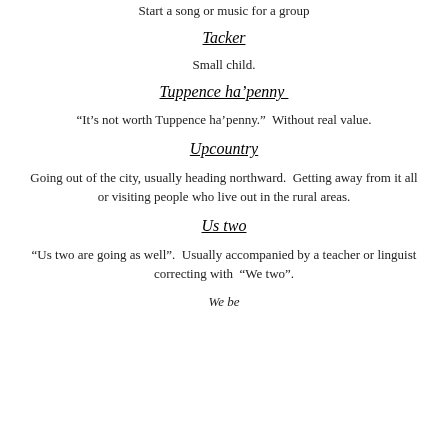Start a song or music for a group
Tacker
Small child.
Tuppence ha'penny
“It’s not worth Tuppence ha’penny.”  Without real value.
Upcountry
Going out of the city, usually heading northward.  Getting away from it all or visiting people who live out in the rural areas.
Us two
“Us two are going as well”.  Usually accompanied by a teacher or linguist correcting with  “We two”.
We be